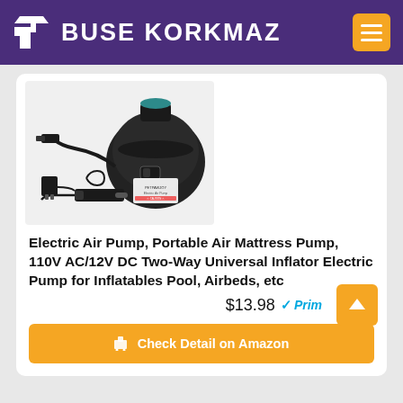BUSE KORKMAZ
[Figure (photo): Electric Air Pump product photo showing black portable air pump with accessories including AC adapter, car adapter, and multiple nozzle attachments]
Electric Air Pump, Portable Air Mattress Pump, 110V AC/12V DC Two-Way Universal Inflator Electric Pump for Inflatables Pool, Airbeds, etc
$13.98 ✓Prime
Check Detail on Amazon